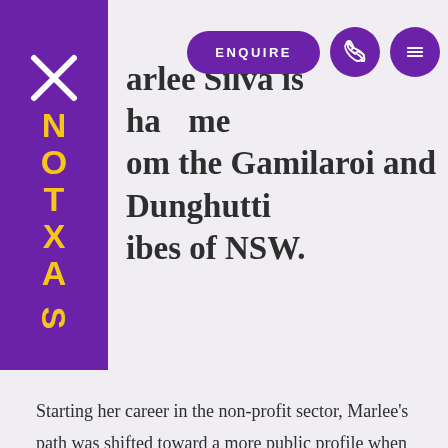[Figure (logo): Saxton speaker bureau logo — vertical purple rectangle with 'SAXTON' text in yellow and an X mark]
arlee Silva is a Charming om the Gamilaroi and Dunghutti ibes of NSW.
Starting her career in the non-profit sector, Marlee's path was shifted toward a more public profile when she was employed as the Co-CEO of Aboriginal education charity AIME Mentoring. A role which saw her shadow the work of AIME's CEO for twelve months and in turn, act as the representative of the organisation's story and direction, in the media and through keynote speaking. It also gave her the